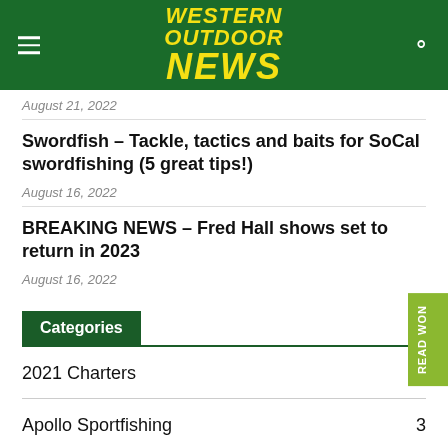WESTERN OUTDOOR NEWS
August 21, 2022
Swordfish – Tackle, tactics and baits for SoCal swordfishing (5 great tips!)
August 16, 2022
BREAKING NEWS – Fred Hall shows set to return in 2023
August 16, 2022
Categories
2021 Charters  3
Apollo Sportfishing  3